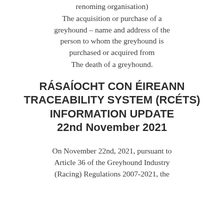renoming organisation)
The acquisition or purchase of a greyhound – name and address of the person to whom the greyhound is purchased or acquired from
The death of a greyhound.
RÁSAÍOCHT CON ÉIREANN TRACEABILITY SYSTEM (RCÉTS) INFORMATION UPDATE 22nd November 2021
On November 22nd, 2021, pursuant to Article 36 of the Greyhound Industry (Racing) Regulations 2007-2021, the